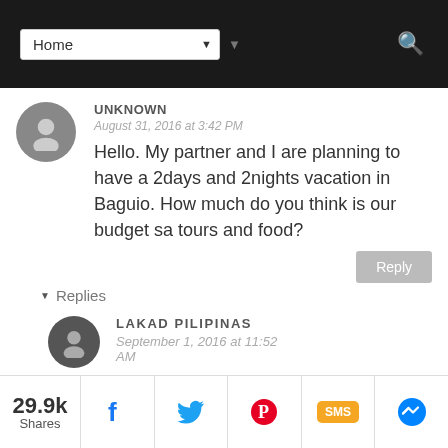Home (navigation bar with dropdown and search icon)
UNKNOWN
August 31, 2016 at 3:42 PM
Hello. My partner and I are planning to have a 2days and 2nights vacation in Baguio. How much do you think is our budget sa tours and food?
Replies
LAKAD PILIPINAS
September 1, 2016 at 11:52 AM